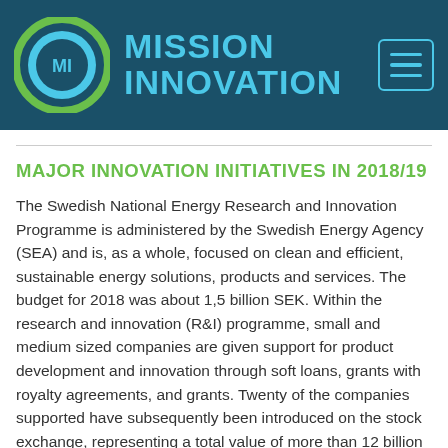MISSION INNOVATION
MAJOR INNOVATION INITIATIVES IN 2018/19
The Swedish National Energy Research and Innovation Programme is administered by the Swedish Energy Agency (SEA) and is, as a whole, focused on clean and efficient, sustainable energy solutions, products and services. The budget for 2018 was about 1,5 billion SEK. Within the research and innovation (R&I) programme, small and medium sized companies are given support for product development and innovation through soft loans, grants with royalty agreements, and grants. Twenty of the companies supported have subsequently been introduced on the stock exchange, representing a total value of more than 12 billion SEK